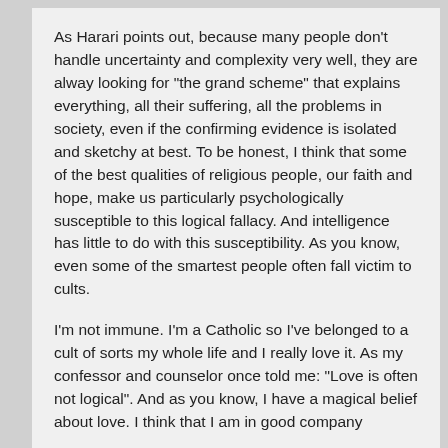As Harari points out, because many people don't handle uncertainty and complexity very well, they are alway looking for “the grand scheme” that explains everything, all their suffering, all the problems in society, even if the confirming evidence is isolated and sketchy at best. To be honest, I think that some of the best qualities of religious people, our faith and hope, make us particularly psychologically susceptible to this logical fallacy. And intelligence has little to do with this susceptibility. As you know, even some of the smartest people often fall victim to cults.
I’m not immune. I’m a Catholic so I’ve belonged to a cult of sorts my whole life and I really love it. As my confessor and counselor once told me: “Love is often not logical”. And as you know, I have a magical belief about love. I think that I am in good company